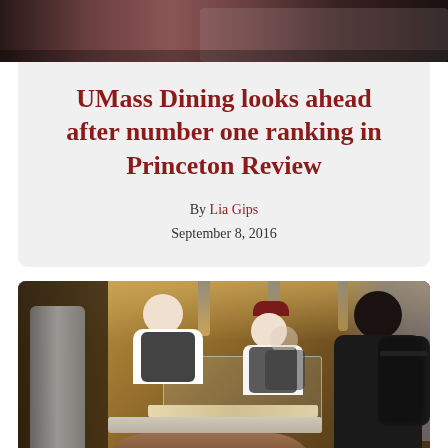[Figure (photo): Partial top banner image showing crowd or event scene in dark reddish tones]
UMass Dining looks ahead after number one ranking in Princeton Review
By Lia Gips
September 8, 2016
[Figure (photo): Photo of UMass dining hall showing two workers behind a food service counter with glass sneeze-guards, trays of food, and a student with a backpack standing at the right side of the counter]